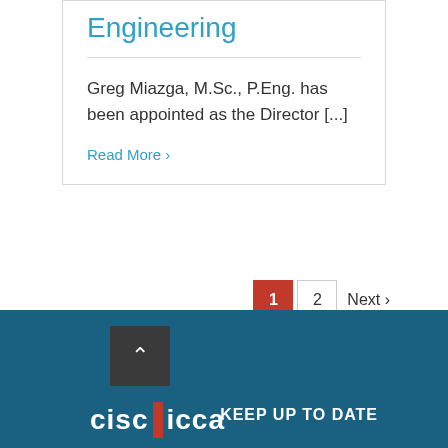Engineering
Greg Miazga, M.Sc., P.Eng. has been appointed as the Director [...]
Read More >
1  2  Next >
[Figure (logo): cisc | icca logo in white text with red vertical bar separator on dark teal footer background]
KEEP UP TO DATE